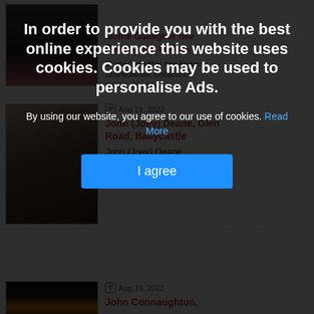[Figure (screenshot): Cookie consent overlay on an obituary website. Background shows obituary listings with photos. Overlay has dark semi-transparent background with bold white text: 'In order to provide you with the best online experience this website uses cookies. Cookies may be used to personalise Ads.' followed by 'By using our website, you agree to our use of cookies. Read More' and a blue 'I agree' button. Below the overlay are visible obituary listings for John (Joey) Deane (Aug 19, 2022) and partially visible John Connaughton (Aug 19, 2022).]
In order to provide you with the best online experience this website uses cookies. Cookies may be used to personalise Ads.
By using our website, you agree to our use of cookies. Read More
I agree
Moine Gallagher nee Kearns, Shanvolahan, Bellacorick, Ballina, Co. Mayo -...
Aug 19, 2022
John (Joey) Deane, Glen Road, Ballycastle

John (Joey) Deane

Glen Road, Ballycastle - peacefully at his residence.
Aug 19, 2022
John Connaughton,